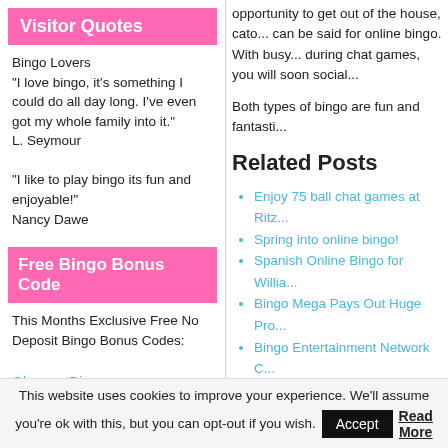Visitor Quotes
Bingo Lovers
"I love bingo, it's something I could do all day long. I've even got my whole family into it."
L. Seymour

"I like to play bingo its fun and enjoyable!"
Nancy Dawe
Free Bingo Bonus Code
This Months Exclusive Free No Deposit Bingo Bonus Codes:
Glamour Bingo
£15 Free No Deposit Sign Up Bonus.
Use: "GLAM1" on Registration Page.
opportunity to get out of the house, cato... can be said for online bingo. With busy... during chat games, you will soon social...

Both types of bingo are fun and fantasti...
Related Posts
Enjoy 75 ball chat games at Ritz...
Spring into online bingo!
Spanish Online Bingo for Willia...
Bingo Mega Pays Out Huge Pro...
Bingo Entertainment Network C...
Bingo on the Radio
Bingo Howls To Be Heard On H...
Loyalty Pays at Bingo Blowout
Floor Slippery When Wet
Discover variety and fun at Ritz...
This website uses cookies to improve your experience. We'll assume you're ok with this, but you can opt-out if you wish. Accept Read More